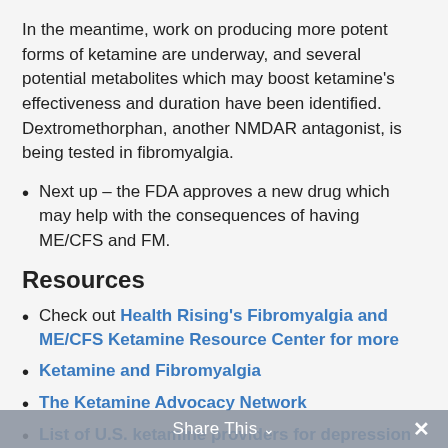In the meantime, work on producing more potent forms of ketamine are underway, and several potential metabolites which may boost ketamine's effectiveness and duration have been identified.  Dextromethorphan, another NMDAR antagonist, is being tested in fibromyalgia.
Next up – the FDA approves a new drug which may help with the consequences of having ME/CFS and FM.
Resources
Check out Health Rising's Fibromyalgia and ME/CFS Ketamine Resource Center for more
Ketamine and Fibromyalgia
The Ketamine Advocacy Network
List of U.S. ketamine providers for depression